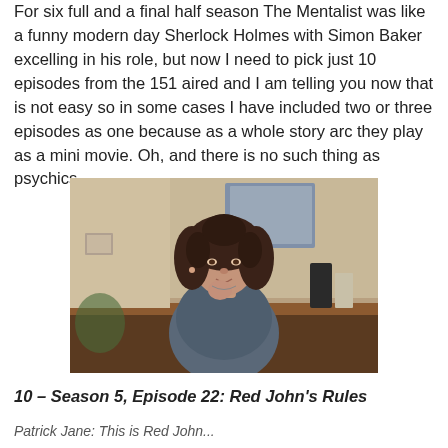For six full and a final half season The Mentalist was like a funny modern day Sherlock Holmes with Simon Baker excelling in his role, but now I need to pick just 10 episodes from the 151 aired and I am telling you now that is not easy so in some cases I have included two or three episodes as one because as a whole story arc they play as a mini movie. Oh, and there is no such thing as psychics...
[Figure (photo): A woman with curly dark brown hair sits at a desk or counter, resting her chin/hand thoughtfully. She wears a dark grey-blue top. The background shows a blurred room interior with a painting or artwork, and objects on a surface behind her.]
10 – Season 5, Episode 22: Red John's Rules
Patrick Jane: This is Red John...